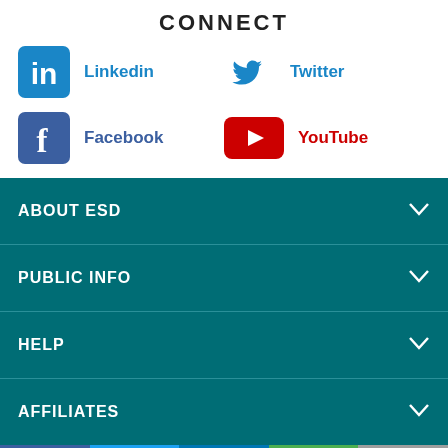CONNECT
Linkedin
Twitter
Facebook
YouTube
ABOUT ESD
PUBLIC INFO
HELP
AFFILIATES
Facebook | Twitter | LinkedIn | WhatsApp | Email